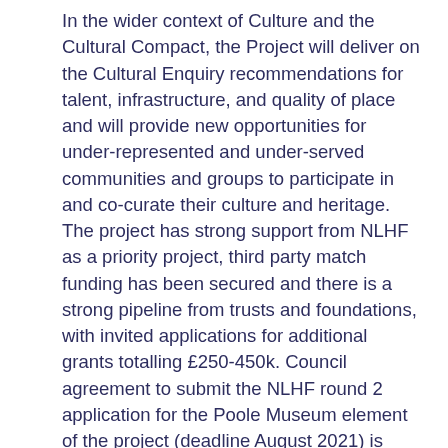In the wider context of Culture and the Cultural Compact, the Project will deliver on the Cultural Enquiry recommendations for talent, infrastructure, and quality of place and will provide new opportunities for under-represented and under-served communities and groups to participate in and co-curate their culture and heritage. The project has strong support from NLHF as a priority project, third party match funding has been secured and there is a strong pipeline from trusts and foundations, with invited applications for additional grants totalling £250-450k. Council agreement to submit the NLHF round 2 application for the Poole Museum element of the project (deadline August 2021) is requested. Project development work demonstrates an opportunity to extend the scope of the capital works to increase the transformative impact of the project for Poole rejuvenation, outcomes for people, built heritage and museum collections, and the financial sustainability of the service. Council agreement is requested for